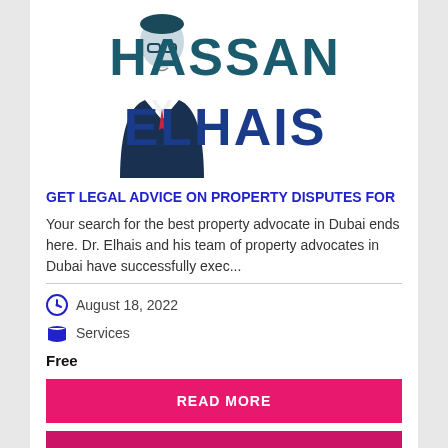[Figure (logo): Hassan Elhais logo with stylized portrait illustration and bold text 'HASSAN ELHAIS' in teal/dark blue colors]
GET LEGAL ADVICE ON PROPERTY DISPUTES FOR
Your search for the best property advocate in Dubai ends here. Dr. Elhais and his team of property advocates in Dubai have successfully exec...
August 18, 2022
Services
Free
READ MORE
VIEW WEBSITE